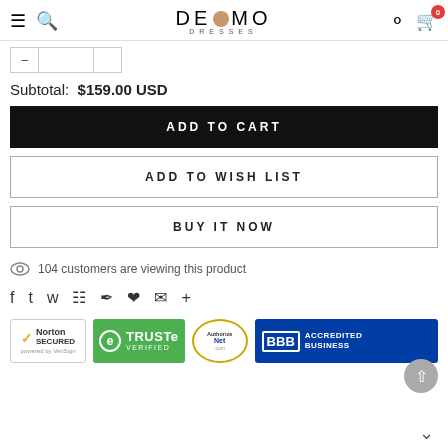DEMO DRESSES — Navigation header with hamburger menu, search, logo, user icon, cart (0)
Subtotal: $159.00 USD
ADD TO CART
ADD TO WISH LIST
BUY IT NOW
104 customers are viewing this product
Social share icons: Facebook, Twitter, Pinterest, Grid, Bookmark, Heart, Mail, Plus
[Figure (logo): Trust badges: Norton Secured by VeriSign, TRUSTe Verified, Authorize.Net, BBB Accredited Business]